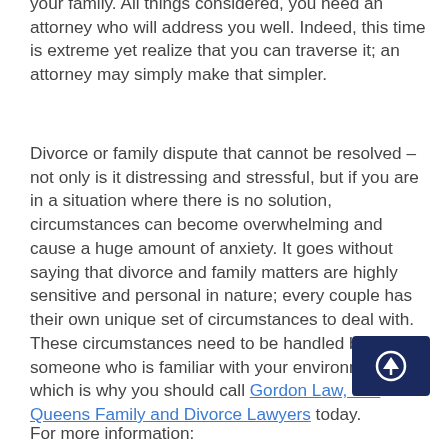your family. All things considered, you need an attorney who will address you well. Indeed, this time is extreme yet realize that you can traverse it; an attorney may simply make that simpler.
Divorce or family dispute that cannot be resolved – not only is it distressing and stressful, but if you are in a situation where there is no solution, circumstances can become overwhelming and cause a huge amount of anxiety. It goes without saying that divorce and family matters are highly sensitive and personal in nature; every couple has their own unique set of circumstances to deal with. These circumstances need to be handled by someone who is familiar with your environment, which is why you should call Gordon Law, P. – Queens Family and Divorce Lawyers today.
For more information: